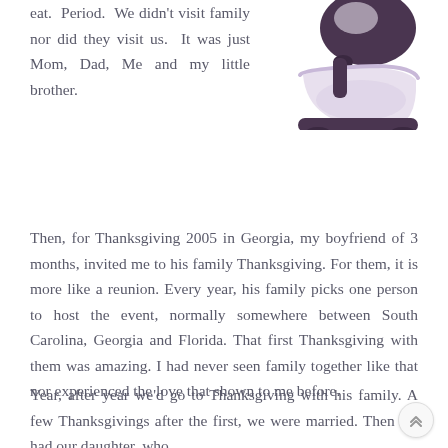[Figure (illustration): A purple/dark violet stand mixer illustration with a round bowl, shown from the front-right angle.]
eat. Period. We didn't visit family nor did they visit us. It was just Mom, Dad, Me and my little brother.
Then, for Thanksgiving 2005 in Georgia, my boyfriend of 3 months, invited me to his family Thanksgiving. For them, it is more like a reunion. Every year, his family picks one person to host the event, normally somewhere between South Carolina, Georgia and Florida. That first Thanksgiving with them was amazing. I had never seen family together like that nor experienced the love that shown to me before.
Year, after year we'd go to Thanksgiving with his family. A few Thanksgivings after the first, we were married. Then we had our daughter, who